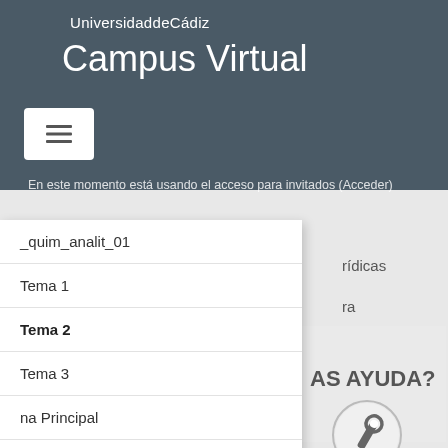UniversidaddeCádiz
Campus Virtual
En este momento está usando el acceso para invitados (Acceder)
_quim_analit_01
Tema 1
Tema 2
Tema 3
na Principal
ndario
rídicas
ra
Utilizamos cookies propias y de terceros para ofrecer nuestros servicios y mostrar. Si continúa navegando, consideramos que acepta su uso. Puedes obtener más información, o bien conocer como cambiar la configuración, en nuestra Política de cookies.
AS AYUDA?
[Figure (illustration): Wrench/tool icon circle graphic]
Cerrar